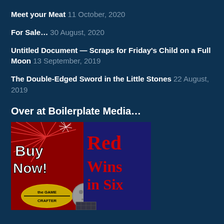Meet your Meat 11 October, 2020
For Sale… 30 August, 2020
Untitled Document — Scraps for Friday's Child on a Full Moon 13 September, 2019
The Double-Edged Sword in the Little Stones 22 August, 2019
Over at Boilerplate Media…
[Figure (illustration): Buy Now! Red Wins in Six — Game Crafter promotional image with fireworks background]